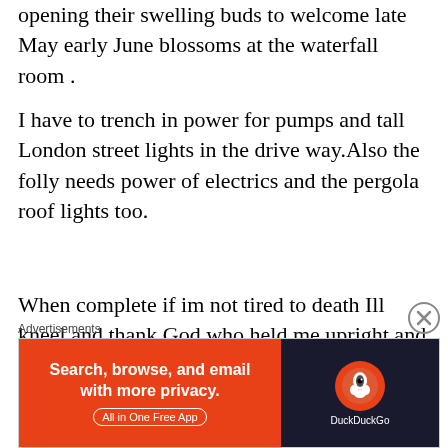opening their swelling buds to welcome late May early June blossoms at the waterfall room .
I have to trench in power for pumps and tall London street lights in the drive way.Also the folly needs power of electrics and the pergola roof lights too.
When complete if im not tired to death Ill kneel and thank God who held me upright and set in working so hard for so long. Its been a dream for so long and now its happening. More still to do but its no longer a maybe it is beginning to be what I wanted at first site I knew this flat
Advertisements
[Figure (screenshot): DuckDuckGo advertisement banner: orange left panel reading 'Search, browse, and email with more privacy. All in One Free App' with a dark right panel showing the DuckDuckGo logo and brand name.]